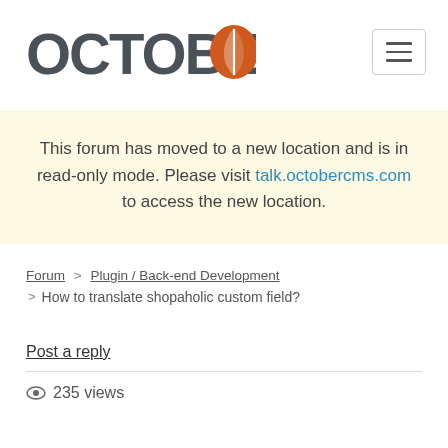[Figure (logo): OctoberCMS logo with stylized leaf icon in orange]
This forum has moved to a new location and is in read-only mode. Please visit talk.octobercms.com to access the new location.
Forum > Plugin / Back-end Development
> How to translate shopaholic custom field?
Post a reply
235 views